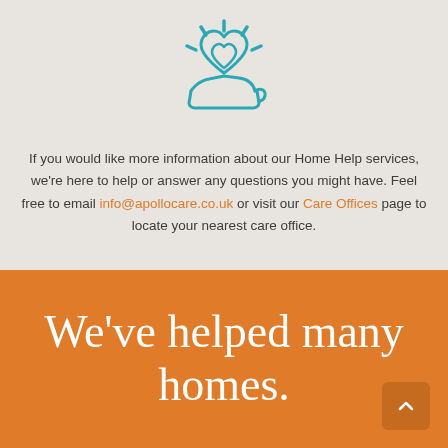[Figure (illustration): Teal/blue line-art icon of a hand holding two hearts with radiating lines suggesting warmth or care]
If you would like more information about our Home Help services, we're here to help or answer any questions you might have. Feel free to email info@apollocare.co.uk or visit our Care Offices page to locate your nearest care office.
We've helped many homes.